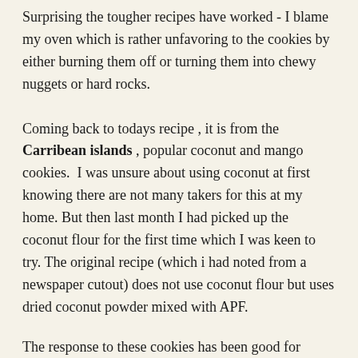Surprising the tougher recipes have worked - I blame my oven which is rather unfavoring to the cookies by either burning them off or turning them into chewy nuggets or hard rocks.
Coming back to todays recipe , it is from the Carribean islands , popular coconut and mango cookies.  I was unsure about using coconut at first knowing there are not many takers for this at my home. But then last month I had picked up the coconut flour for the first time which I was keen to try. The original recipe (which i had noted from a newspaper cutout) does not use coconut flour but uses dried coconut powder mixed with APF.
The response to these cookies has been good for which I credit the mangoes , it is such a welcoming flavor. I plan to reduce the sugar to let the mangoes come